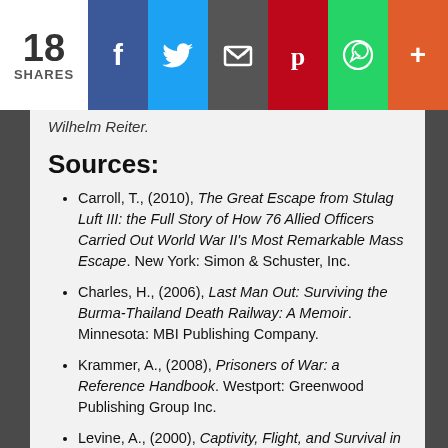[Figure (screenshot): Social share bar with 18 shares count, Facebook, Twitter, Email, Pinterest, WhatsApp, and More buttons]
Wilhelm Reiter.
Sources:
Carroll, T., (2010), The Great Escape from Stulag Luft III: the Full Story of How 76 Allied Officers Carried Out World War II's Most Remarkable Mass Escape. New York: Simon & Schuster, Inc.
Charles, H., (2006), Last Man Out: Surviving the Burma-Thailand Death Railway: A Memoir. Minnesota: MBI Publishing Company.
Krammer, A., (2008), Prisoners of War: a Reference Handbook. Westport: Greenwood Publishing Group Inc.
Levine, A., (2000), Captivity, Flight, and Survival in World War Two. Westport: Greenwood Publishing Group Inc.
Marcuse, H., (2001), Legacies of Dachau: The Uses